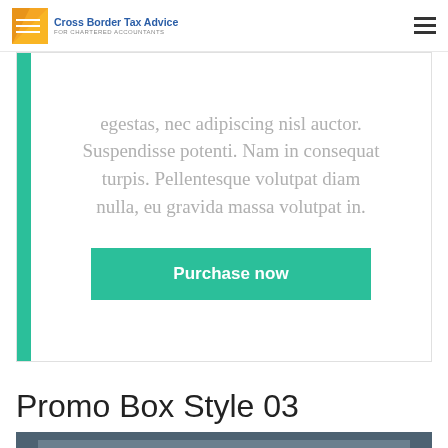Cross Border Tax Advice | FOR CHARTERED ACCOUNTANTS
egestas, nec adipiscing nisl auctor. Suspendisse potenti. Nam in consequat turpis. Pellentesque volutpat diam nulla, eu gravida massa volutpat in.
Purchase now
Promo Box Style 03